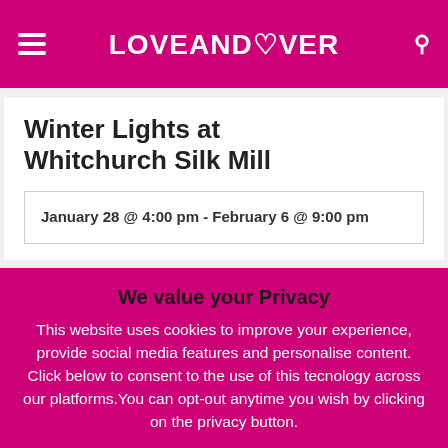LOVEANDOVER
Winter Lights at Whitchurch Silk Mill
January 28 @ 4:00 pm - February 6 @ 9:00 pm
We value your Privacy
This website uses cookies to improve your experience, provide social media features and personalise content. Click below to consent to the use of this tecnology across our platforms.You can opt-out anytime you wish by clicking on the privacy button.
Accept   Reject   Read More